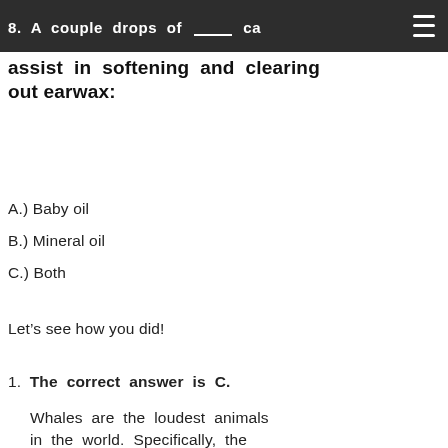8. A couple drops of ___ can assist in softening and clearing out earwax:
A.) Baby oil
B.) Mineral oil
C.) Both
Let’s see how you did!
1. The correct answer is C. Whales are the loudest animals in the world. Specifically, the